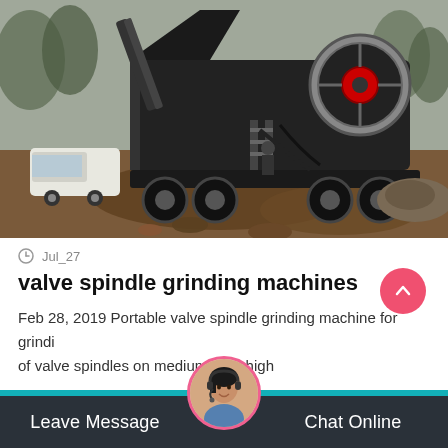[Figure (photo): Outdoor industrial scene with a large black mobile jaw crusher/stone crushing machine on a muddy construction/mining site. A white van is parked to the left. Workers visible near the machine. Overcast sky, trees in background.]
Jul_27
valve spindle grinding machines
Feb 28, 2019 Portable valve spindle grinding machine for grindi... of valve spindles on medium- and high
Leave Message   Chat Online